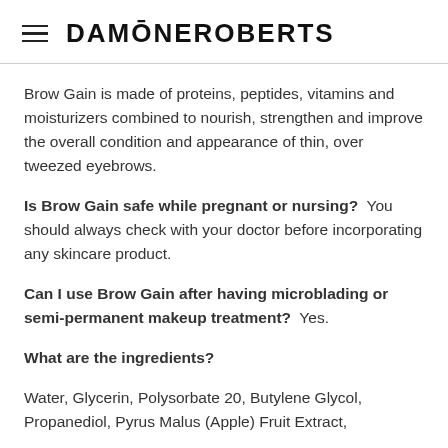DAMŌNE ROBERTS
Brow Gain is made of proteins, peptides, vitamins and moisturizers combined to nourish, strengthen and improve the overall condition and appearance of thin, over tweezed eyebrows.
Is Brow Gain safe while pregnant or nursing?  You should always check with your doctor before incorporating any skincare product.
Can I use Brow Gain after having microblading or semi-permanent makeup treatment?  Yes.
What are the ingredients?
Water, Glycerin, Polysorbate 20, Butylene Glycol, Propanediol, Pyrus Malus (Apple) Fruit Extract,